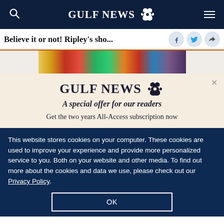GULF NEWS
Believe it or not! Ripley's sho...
[Figure (photo): Colorful scenic image strip showing trees and a red building]
× GULF NEWS — A special offer for our readers — Get the two years All-Access subscription now
This website stores cookies on your computer. These cookies are used to improve your experience and provide more personalized service to you. Both on your website and other media. To find out more about the cookies and data we use, please check out our Privacy Policy.
OK